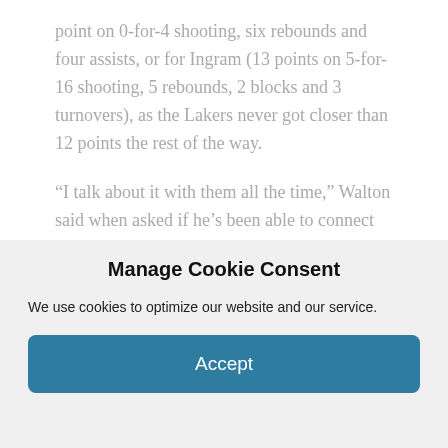point on 0-for-4 shooting, six rebounds and four assists, or for Ingram (13 points on 5-for-16 shooting, 5 rebounds, 2 blocks and 3 turnovers), as the Lakers never got closer than 12 points the rest of the way.
“I talk about it with them all the time,” Walton said when asked if he’s been able to connect with the former No. 2 picks when they are disengaged. “There’s no secret to it. As far as finding that way, I can find it with a lot of people. I don’t have the exact answer on those ones yet. But I also have all the belief in the world in them that
Manage Cookie Consent
We use cookies to optimize our website and our service.
Accept